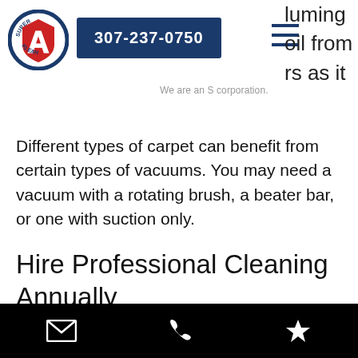[Figure (logo): Super A Klean company logo — circular badge with blue border, red shield, and large letter A]
307-237-0750
luming oil from rs as it
We are an S corporation.
Different types of carpet can benefit from certain types of vacuums. You may need a vacuum with a rotating brush, a beater bar, or one with suction only.
Hire Professional Cleaning Annually
For an average household, professional cleaning every 12 to 18 months is enough to keep your carpets looking like new. However, busier houses or businesses may want to schedule more
Email | Phone | Favorite